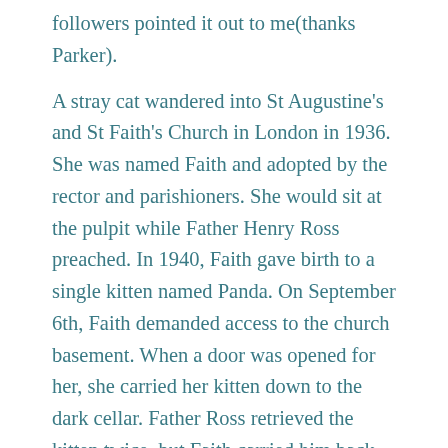followers pointed it out to me(thanks Parker).
A stray cat wandered into St Augustine's and St Faith's Church in London in 1936. She was named Faith and adopted by the rector and parishioners. She would sit at the pulpit while Father Henry Ross preached. In 1940, Faith gave birth to a single kitten named Panda. On September 6th, Faith demanded access to the church basement. When a door was opened for her, she carried her kitten down to the dark cellar. Father Ross retrieved the kitten twice, but Faith carried him back downstairs -twice. She even missed a church service, which was unusual. The next day, air raids began in the Battle of London, and by the 9th, 400 people had been killed and eight churches were destroyed by bombs. Father Ross returned to the church to find it ruined. He called for Faith and heard faint meowing in return. He retrieved both Faith and Panda from the rubble just before the roof collapsed. Faith was